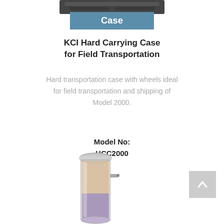[Figure (photo): Partial top view of a hard carrying case (dark/black), cropped at top of page]
Case
KCI Hard Carrying Case for Field Transportation
Hard transportation case with wheels ideal for field transportation and shipping of Model 2000.
Model No:
HCC2000
[Figure (photo): Transparent cylindrical tube/canister with granular contents (beige/tan on top, purple on bottom), metal cap, and small side port — appears to be a medical filter or canister component]
[Figure (other): Gray square button with upward-pointing chevron/arrow icon]